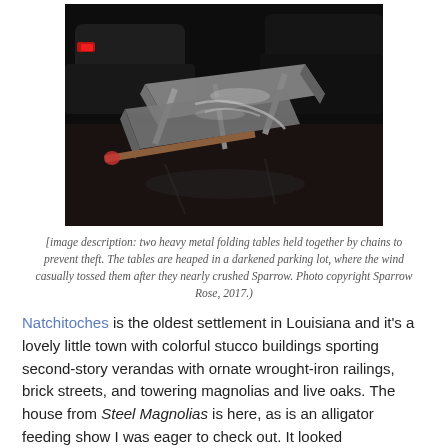[Figure (photo): Night-time photograph of two heavy metal folding tables chained together, heaped in a darkened parking lot, with a car visible in the background with red brake lights.]
[image description: two heavy metal folding tables held together by chains to prevent theft. The tables are heaped in a darkened parking lot, where the wind casually tossed them after they nearly crushed Sparrow. Photo copyright Sparrow Rose, 2017.)
Natchitoches is the oldest settlement in Louisiana and it's a lovely little town with colorful stucco buildings sporting second-story verandas with ornate wrought-iron railings, brick streets, and towering magnolias and live oaks. The house from Steel Magnolias is here, as is an alligator feeding show I was eager to check out. It looked